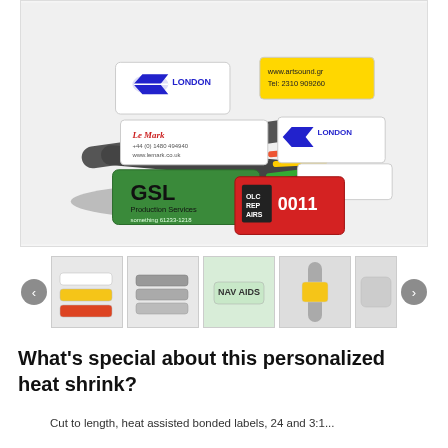[Figure (photo): Product photo showing multiple personalized heat shrink labels on cables. Labels include white ones with 'BLITZ LONDON' in blue, a yellow label with 'www.artsound.gr Tel: 2310 909260', a white label with 'Le Mark' branding and contact info, a green label reading 'GSL Production Services', a red label with serial number '0011', and white labels with 'BLITZ LONDON' and another brand logo.]
[Figure (photo): Thumbnail 1: small heat shrink labels assortment photo]
[Figure (photo): Thumbnail 2: grey/silver heat shrink tubes photo]
[Figure (photo): Thumbnail 3: pale green label reading NAV AIDS]
[Figure (photo): Thumbnail 4: heat shrink on cable close-up]
[Figure (photo): Thumbnail 5: partial thumbnail, grey heat shrink]
What's special about this personalized heat shrink?
Cut to length, heat assisted bonded labels, 24 and 3:1...